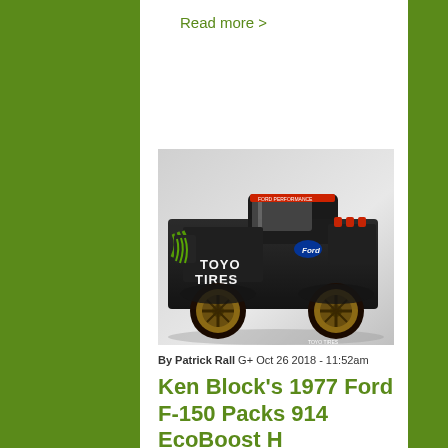Read more >
[Figure (photo): Ken Block's 1977 Ford F-150 Hoonitruck with Monster Energy, Toyo Tires, and Ford livery in matte black with claw marks, photographed in studio against grey background]
By Patrick Rall G+ Oct 26 2018 - 11:52am
Ken Block's 1977 Ford F-150 Packs 914 EcoBoost H...